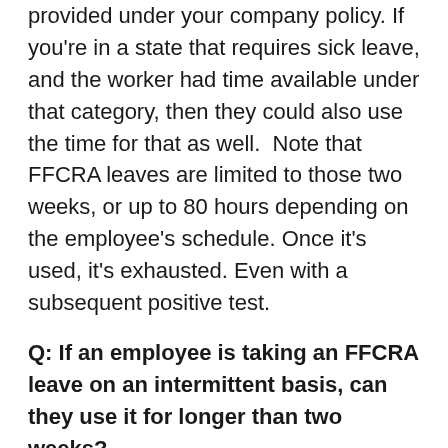provided under your company policy. If you're in a state that requires sick leave, and the worker had time available under that category, then they could also use the time for that as well.  Note that FFCRA leaves are limited to those two weeks, or up to 80 hours depending on the employee's schedule. Once it's used, it's exhausted. Even with a subsequent positive test.
Q: If an employee is taking an FFCRA leave on an intermittent basis, can they use it for longer than two weeks?
A: It depends on the use.  They can't if it's for their own illness or taking care of a sick family member—basically anything other than caring